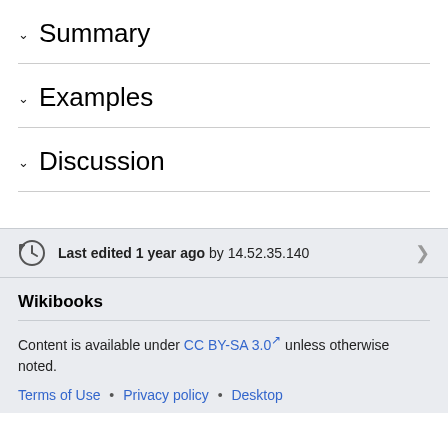Summary
Examples
Discussion
Last edited 1 year ago by 14.52.35.140
Wikibooks
Content is available under CC BY-SA 3.0 unless otherwise noted.
Terms of Use • Privacy policy • Desktop